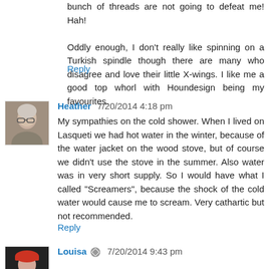bunch of threads are not going to defeat me! Hah!
Oddly enough, I don't really like spinning on a Turkish spindle though there are many who disagree and love their little X-wings. I like me a good top whorl with Houndesign being my favourites.
Reply
Heather  7/20/2014 4:18 pm
My sympathies on the cold shower. When I lived on Lasqueti we had hot water in the winter, because of the water jacket on the wood stove, but of course we didn't use the stove in the summer. Also water was in very short supply. So I would have what I called "Screamers", because the shock of the cold water would cause me to scream. Very cathartic but not recommended.
Reply
Louisa  7/20/2014 9:43 pm